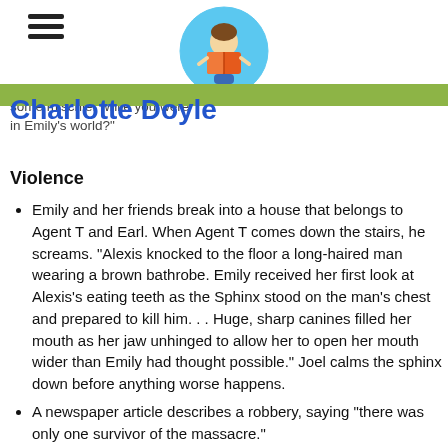Charlotte Doyle
some mischief while you were in Emily's world?"
Violence
Emily and her friends break into a house that belongs to Agent T and Earl. When Agent T comes down the stairs, he screams. “Alexis knocked to the floor a long-haired man wearing a brown bathrobe. Emily received her first look at Alexis’s eating teeth as the Sphinx stood on the man’s chest and prepared to kill him. . . Huge, sharp canines filled her mouth as her jaw unhinged to allow her to open her mouth wider than Emily had thought possible.” Joel calms the sphinx down before anything worse happens.
A newspaper article describes a robbery, saying “there was only one survivor of the massacre.”